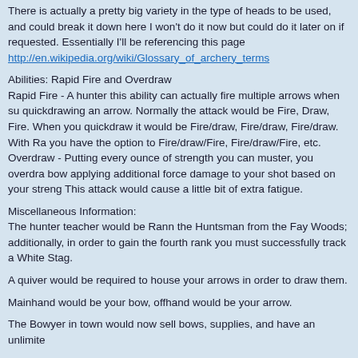There is actually a pretty big variety in the type of heads to be used, and could break it down here I won't do it now but could do it later on if requested. Essentially I'll be referencing this page http://en.wikipedia.org/wiki/Glossary_of_archery_terms
Abilities: Rapid Fire and Overdraw
Rapid Fire - A hunter this ability can actually fire multiple arrows when su quickdrawing an arrow. Normally the attack would be Fire, Draw, Fire. When you quickdraw it would be Fire/draw, Fire/draw, Fire/draw. With Ra you have the option to Fire/draw/Fire, Fire/draw/Fire, etc.
Overdraw - Putting every ounce of strength you can muster, you overdra bow applying additional force damage to your shot based on your streng This attack would cause a little bit of extra fatigue.
Miscellaneous Information:
The hunter teacher would be Rann the Huntsman from the Fay Woods; additionally, in order to gain the fourth rank you must successfully track a White Stag.
A quiver would be required to house your arrows in order to draw them.
Mainhand would be your bow, offhand would be your arrow.
The Bowyer in town would now sell bows, supplies, and have an unlimite